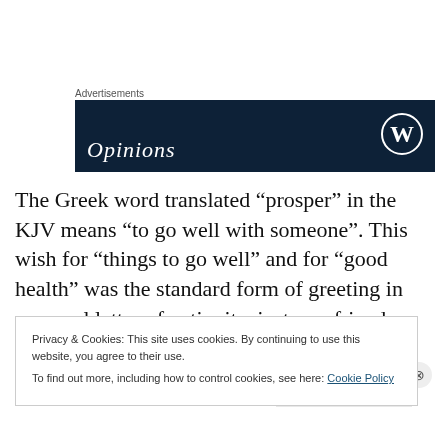Advertisements
[Figure (screenshot): Dark navy blue advertisement banner with WordPress logo (circle W) on the right and the word 'Opinions' in white italic serif text at the bottom left]
The Greek word translated “prosper” in the KJV means “to go well with someone”. This wish for “things to go well” and for “good health” was the standard form of greeting in personal letter of antiquity, just as a friend today might say,
Privacy & Cookies: This site uses cookies. By continuing to use this website, you agree to their use.
To find out more, including how to control cookies, see here: Cookie Policy
Close and accept